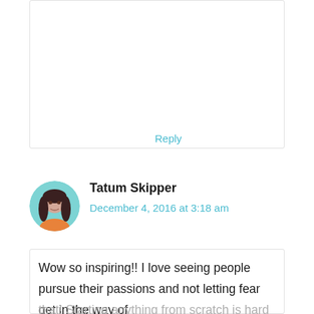Reply
[Figure (photo): Circular avatar photo of Tatum Skipper, a woman with long dark hair wearing an orange top, against a teal background]
Tatum Skipper
December 4, 2016 at 3:18 am
Wow so inspiring!! I love seeing people pursue their passions and not letting fear get in the way of that! Starting anything from scratch is hard work, but the end